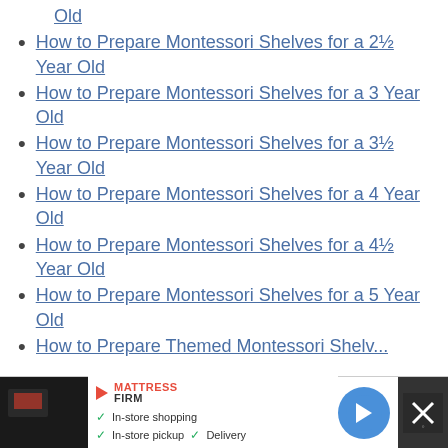How to Prepare Montessori Shelves for a 2½ Year Old
How to Prepare Montessori Shelves for a 3 Year Old
How to Prepare Montessori Shelves for a 3½ Year Old
How to Prepare Montessori Shelves for a 4 Year Old
How to Prepare Montessori Shelves for a 4½ Year Old
How to Prepare Montessori Shelves for a 5 Year Old
How to Prepare Themed Montessori Shelves (partial, cut off)